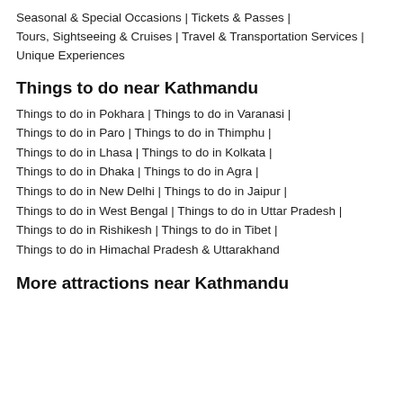Seasonal & Special Occasions | Tickets & Passes | Tours, Sightseeing & Cruises | Travel & Transportation Services | Unique Experiences
Things to do near Kathmandu
Things to do in Pokhara | Things to do in Varanasi | Things to do in Paro | Things to do in Thimphu | Things to do in Lhasa | Things to do in Kolkata | Things to do in Dhaka | Things to do in Agra | Things to do in New Delhi | Things to do in Jaipur | Things to do in West Bengal | Things to do in Uttar Pradesh | Things to do in Rishikesh | Things to do in Tibet | Things to do in Himachal Pradesh & Uttarakhand
More attractions near Kathmandu